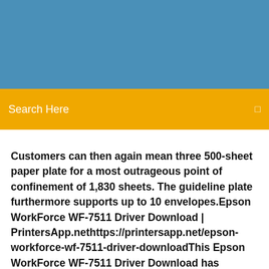[Figure (other): Blue header background image area]
Search Here
Customers can then again mean three 500-sheet paper plate for a most outrageous point of confinement of 1,830 sheets. The guideline plate furthermore supports up to 10 envelopes.Epson WorkForce WF-7511 Driver Download | PrintersApp.nethttps://printersapp.net/epson-workforce-wf-7511-driver-downloadThis Epson WorkForce WF-7511 Driver Download has actually cost